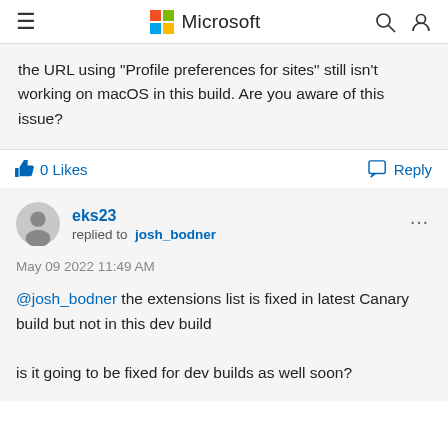Microsoft
the URL using "Profile preferences for sites" still isn't working on macOS in this build. Are you aware of this issue?
0 Likes   Reply
eks23 replied to josh_bodner
May 09 2022 11:49 AM
@josh_bodner the extensions list is fixed in latest Canary build but not in this dev build

is it going to be fixed for dev builds as well soon?